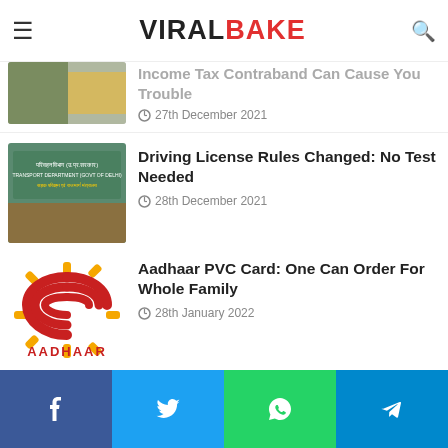ViralBake
Income Tax Contraband Can Cause You Trouble — 27th December 2021
Driving License Rules Changed: No Test Needed — 28th December 2021
Aadhaar PVC Card: One Can Order For Whole Family — 28th January 2022
Recent News
Big Budget Of Upcoming VFX Fantasy